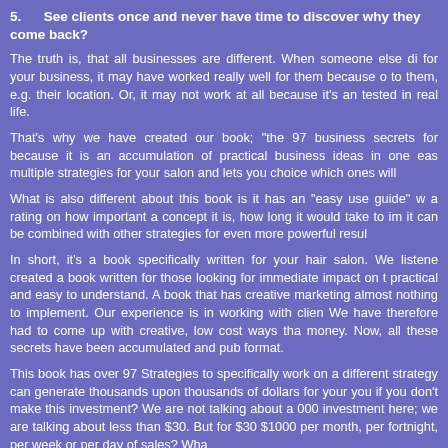5.      See clients once and never have time to discover why they come back?
The truth is, that all businesses are different. When someone else di... for your business, it may have worked really well for them because o... to them, e.g. their location. Or, it may not work at all because it's an... tested in real life.
That's why we have created our book; "the 97 business secrets for... because it is an accumulation of practical business ideas in one eas... multiple strategies for your salon and lets you choice which ones will...
What is also different about this book is it has an "easy use guide" w... a rating on how important a concept it is, how long it would take to im... it can be combined with other strategies for even more powerful resul...
In short, it's a book specifically written for your hair salon. We listene... created a book written for those looking for immediate impact on t... practical and easy to understand. A book that has creative marketing... almost nothing to implement. Our experience is in working with clien... We have therefore had to come up with creative, low cost ways tha... money. Now, all these secrets have been accumulated and pub... format.
This book has over 97 Strategies to specifically work on a different... strategy can generate thousands upon thousands of dollars for your... you if you don't make this investment? We are not talking about a... 000 investment here; we are talking about less than $30. But for $30... $1000 per month, per fortnight, per week or per day of sales? Wha...